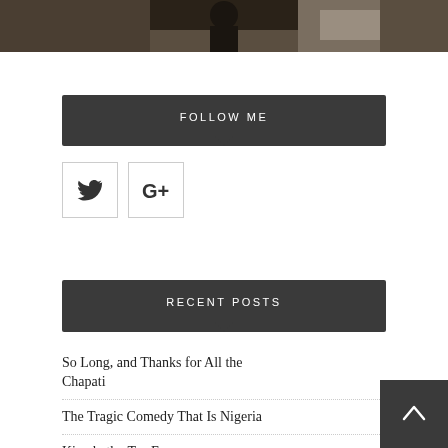[Figure (photo): Partial photo strip at top of page showing an outdoor scene with rocks and a person]
FOLLOW ME
[Figure (infographic): Twitter bird icon and Google+ G+ icon as social media follow buttons]
RECENT POSTS
So Long, and Thanks for All the Chapati
The Tragic Comedy That Is Nigeria
Kiambethu Tea Farm